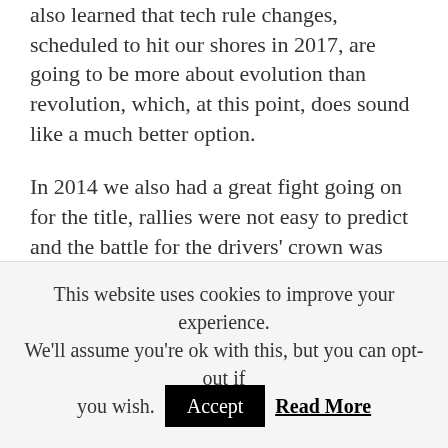also learned that tech rule changes, scheduled to hit our shores in 2017, are going to be more about evolution than revolution, which, at this point, does sound like a much better option.
In 2014 we also had a great fight going on for the title, rallies were not easy to predict and the battle for the drivers' crown was exciting. Volkswagen did destroy the competition in manufacturer category – on paper, they're the strongest team, but are they really that strong, or is it just about others not being their very best? In 2015 we should see big improvements in pace and consistency, otherwise some teams and drivers will start running short on
This website uses cookies to improve your experience. We'll assume you're ok with this, but you can opt-out if you wish. Accept Read More